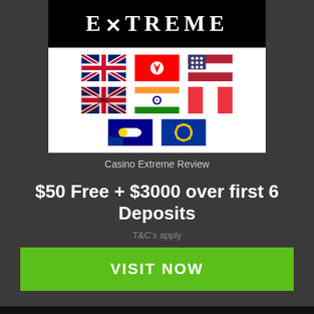[Figure (logo): Casino Extreme logo — white text on black background]
[Figure (illustration): 8 country flags displayed in 2 rows of 4: UK, Canada, USA, (crossed-out flag), India, Singapore, Australia, EU]
Casino Extreme Review
$50 Free + $3000 over first 6 Deposits
T&C's apply
VISIT NOW
Casino Lists
UK
USA
CANADA
AUSTRALIA